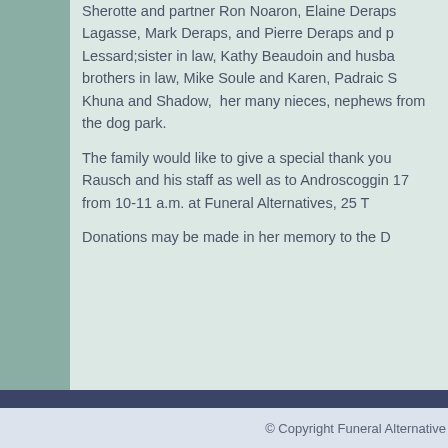Sherotte and partner Ron Noaron, Elaine Deraps Lagasse, Mark Deraps, and Pierre Deraps and p Lessard;sister in law, Kathy Beaudoin and husba brothers in law, Mike Soule and Karen, Padraic S Khuna and Shadow, her many nieces, nephews from the dog park.
The family would like to give a special thank you Rausch and his staff as well as to Androscoggin 17 from 10-11 a.m. at Funeral Alternatives, 25 T
Donations may be made in her memory to the D
Funeral Alternatives offers cremation services, burial
Offices in Lewisto Serving Androscoggin County, Cumber
Cities
Join us
© Copyright Funeral Alternative